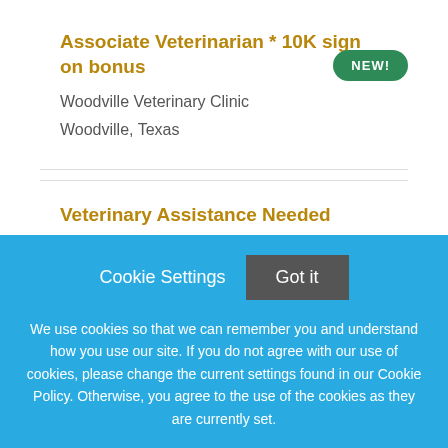Associate Veterinarian * 10K sign on bonus
Woodville Veterinary Clinic
Woodville, Texas
Veterinary Assistance Needed
Mill Creek Veterinary Hospital
Mill Creek, Washington
Cookie Settings  Got it
We use cookies so that we can remember you and understand how you use our site. If you do not agree with our use of cookies, please change the current settings found in our Cookie Policy. Otherwise, you agree to the use of the cookies as they are currently set.